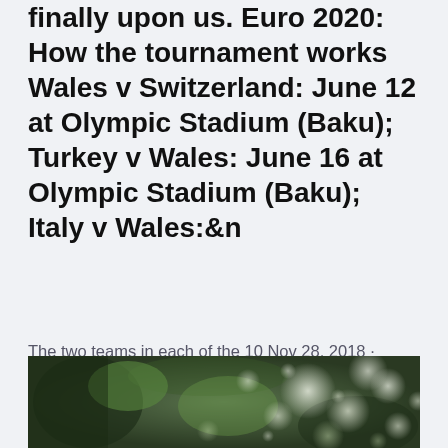finally upon us. Euro 2020: How the tournament works Wales v Switzerland: June 12 at Olympic Stadium (Baku); Turkey v Wales: June 16 at Olympic Stadium (Baku); Italy v Wales:&n
The two teams in each of the 10 Nov 28, 2018 · Wales are confirmed in pot 2 for the UEFA EURO 2020 qualifying draw, which takes place in Dublin on Sunday (2 December).
[Figure (photo): Blurred/bokeh photograph of green trees with light filtering through leaves, creating a bokeh effect with white and green circles of light]